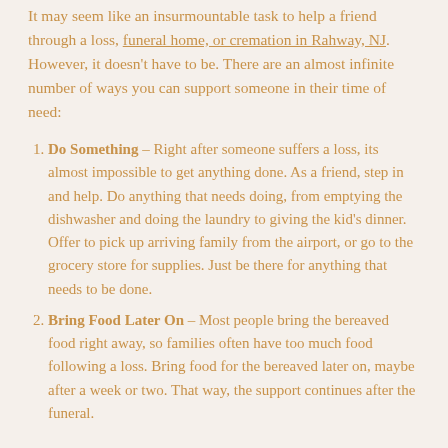It may seem like an insurmountable task to help a friend through a loss, funeral home, or cremation in Rahway, NJ. However, it doesn't have to be. There are an almost infinite number of ways you can support someone in their time of need:
Do Something – Right after someone suffers a loss, its almost impossible to get anything done. As a friend, step in and help. Do anything that needs doing, from emptying the dishwasher and doing the laundry to giving the kid's dinner. Offer to pick up arriving family from the airport, or go to the grocery store for supplies. Just be there for anything that needs to be done.
Bring Food Later On – Most people bring the bereaved food right away, so families often have too much food following a loss. Bring food for the bereaved later on, maybe after a week or two. That way, the support continues after the funeral.